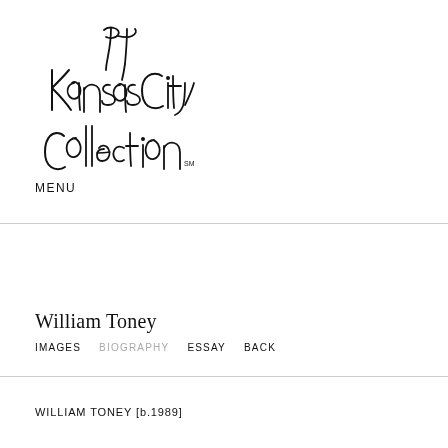[Figure (logo): The Kansas City Collection handwritten script logo with SM mark]
MENU
William Toney
IMAGES   BIOGRAPHY   ESSAY   BACK
WILLIAM TONEY [b.1989]